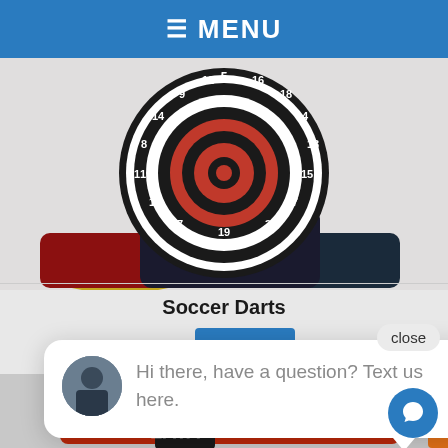≡ MENU
[Figure (photo): Inflatable Soccer Darts game - large dartboard with black and red sections and numbered segments, mounted on inflatable base with yellow and red sides]
Soccer Darts
[Figure (screenshot): Chat popup widget showing avatar of a woman and text: Hi there, have a question? Text us here. With a close button and orange chat bar on the right.]
[Figure (photo): Inflatable sports-themed bounce house or activity structure visible at the bottom of the page]
[Figure (other): Blue circular chat bubble icon button at bottom right]